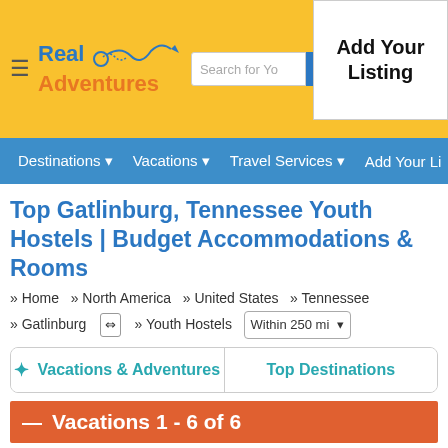[Figure (screenshot): Real Adventures website header with logo, search bar, and Add Your Listing button on yellow background]
Destinations | Vacations | Travel Services | Add Your Listing
Top Gatlinburg, Tennessee Youth Hostels | Budget Accommodations & Rooms
» Home » North America » United States » Tennessee » Gatlinburg ⇔ » Youth Hostels Within 250 mi
✦ Vacations & Adventures | Top Destinations
Vacations 1 - 6 of 6
Sort By Featured
Norcross Inn And Suites